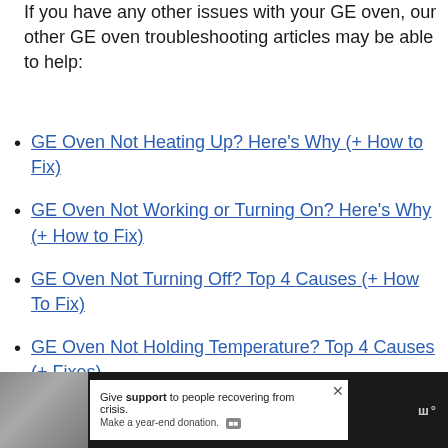If you have any other issues with your GE oven, our other GE oven troubleshooting articles may be able to help:
GE Oven Not Heating Up? Here's Why (+ How to Fix)
GE Oven Not Working or Turning On? Here's Why (+ How to Fix)
GE Oven Not Turning Off? Top 4 Causes (+ How To Fix)
GE Oven Not Holding Temperature? Top 4 Causes (+ Fixes)
[Figure (screenshot): Advertisement banner at the bottom of the page showing a person and text 'Give support to people recovering from crisis. Make a year-end donation.' with a close button and payment icon.]